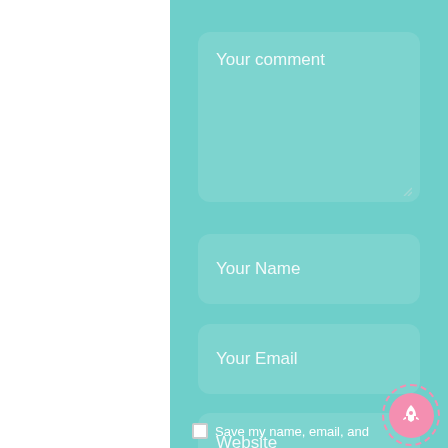[Figure (screenshot): Comment form UI with teal background. Contains a large textarea with placeholder 'Your comment', followed by three input fields with placeholders 'Your Name', 'Your Email', 'Website', a checkbox row with text 'Save my name, email, and', and a pink circular rocket button in the bottom right.]
Your comment
Your Name
Your Email
Website
Save my name, email, and